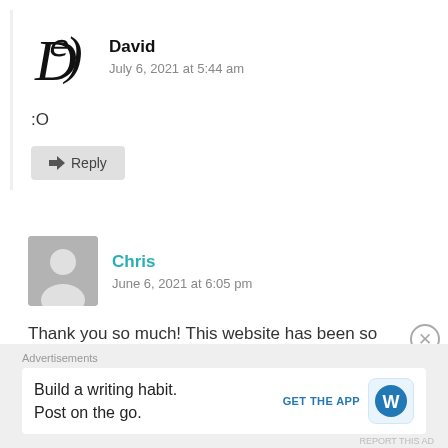David
July 6, 2021 at 5:44 am
:O
Reply
Chris
June 6, 2021 at 6:05 pm
Thank you so much! This website has been so helpful as
Advertisements
Build a writing habit.
Post on the go.
GET THE APP
REPORT THIS AD